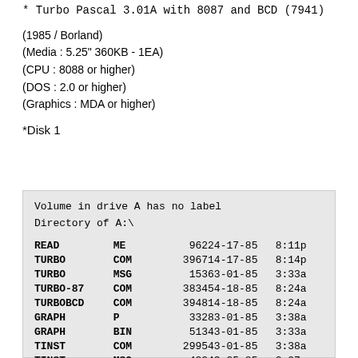* Turbo Pascal 3.01A with 8087 and BCD (7941)
(1985 / Borland)
(Media : 5.25" 360KB - 1EA)
(CPU : 8088 or higher)
(DOS : 2.0 or higher)
(Graphics : MDA or higher)
*Disk 1
| READ | ME | 9622 | 4-17-85 | 8:11p |
| TURBO | COM | 39671 | 4-17-85 | 8:14p |
| TURBO | MSG | 1536 | 3-01-85 | 3:33a |
| TURBO-87 | COM | 38345 | 4-18-85 | 8:24a |
| TURBOBCD | COM | 39481 | 4-18-85 | 8:24a |
| GRAPH | P | 3328 | 3-01-85 | 3:38a |
| GRAPH | BIN | 5134 | 3-01-85 | 3:33a |
| TINST | COM | 29954 | 3-01-85 | 3:38a |
| TINST | MSG | 4224 | 3-05-85 | 2:27a |
| HILB | PAS | 6124 | 3-18-85 | 3:28p |
| TEST | PAS | 1447 | 3-18-85 | 3:27p |
| BCD | PAS | 1110 | 3-18-85 | 3:26p |